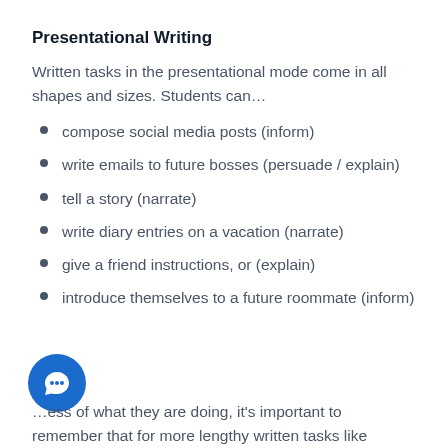Presentational Writing
Written tasks in the presentational mode come in all shapes and sizes. Students can…
compose social media posts (inform)
write emails to future bosses (persuade / explain)
tell a story (narrate)
write diary entries on a vacation (narrate)
give a friend instructions, or (explain)
introduce themselves to a future roommate (inform)
…ess of what they are doing, it's important to remember that for more lengthy written tasks like